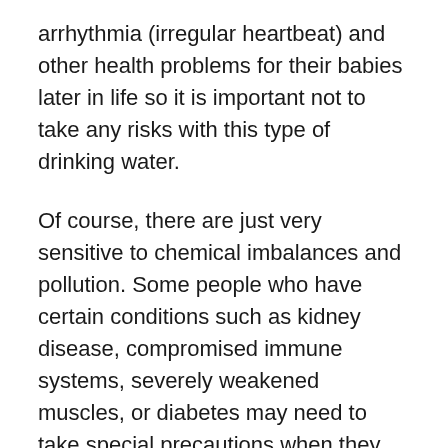arrhythmia (irregular heartbeat) and other health problems for their babies later in life so it is important not to take any risks with this type of drinking water.
Of course, there are just very sensitive to chemical imbalances and pollution. Some people who have certain conditions such as kidney disease, compromised immune systems, severely weakened muscles, or diabetes may need to take special precautions when they consume untreated water due to the potential increased risk of infection and illness. Eczema suffers often comment that when they drink town water without removing